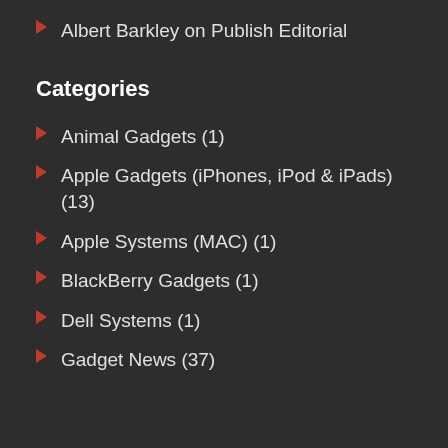Albert Barkley on Publish Editorial
Categories
Animal Gadgets (1)
Apple Gadgets (iPhones, iPod & iPads) (13)
Apple Systems (MAC) (1)
BlackBerry Gadgets (1)
Dell Systems (1)
Gadget News (37)